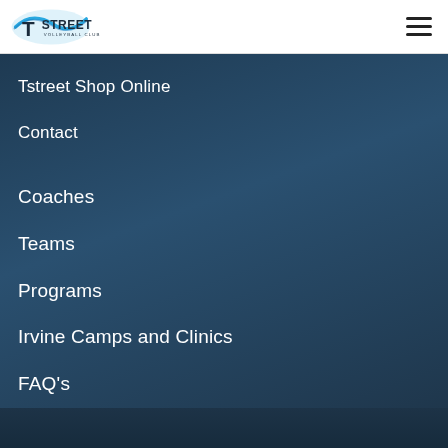[Figure (logo): TStreet Volleyball Club logo with blue swoosh and stylized T]
Tstreet Shop Online
Contact
Coaches
Teams
Programs
Irvine Camps and Clinics
FAQ's
Parent Portal